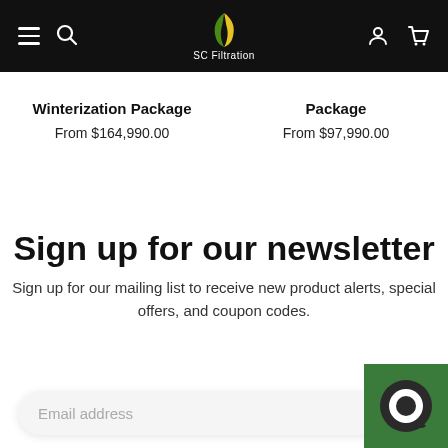SC Filtration — navigation bar with hamburger menu, search icon, logo, user icon, cart icon
Winterization Package
From $164,990.00
Package
From $97,990.00
Sign up for our newsletter
Sign up for our mailing list to receive new product alerts, special offers, and coupon codes.
Email address